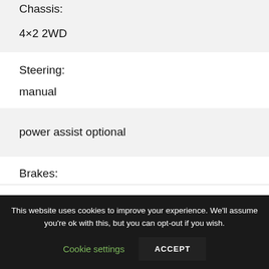Chassis:
4×2 2WD
Steering:
manual
power assist optional
Brakes:
This website uses cookies to improve your experience. We'll assume you're ok with this, but you can opt-out if you wish.
Cookie settings
ACCEPT